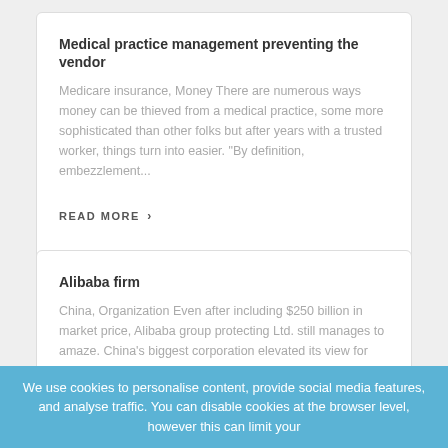Medical practice management preventing the vendor
Medicare insurance, Money There are numerous ways money can be thieved from a medical practice, some more sophisticated than other folks but after years with a trusted worker, things turn into easier. "By definition, embezzlement...
READ MORE ›
Alibaba firm
China, Organization Even after including $250 billion in market price, Alibaba group protecting Ltd. still manages to amaze. China's biggest corporation elevated its view for full-
We use cookies to personalise content, provide social media features, and analyse traffic. You can disable cookies at the browser level, however this can limit your